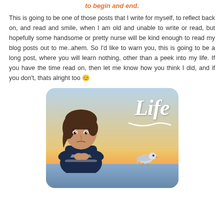to begin and end.
This is going to be one of those posts that I write for myself, to reflect back on, and read and smile, when I am old and unable to write or read, but hopefully some handsome or pretty nurse will be kind enough to read my blog posts out to me..ahem. So I'd like to warn you, this is going to be a long post, where you will learn nothing, other than a peek into my life. If you have the time read on, then let me know how you think I did, and if you don't, thats alright too 😊
[Figure (illustration): A Bitmoji-style cartoon of a young person with dark hair, arms crossed, looking slightly bored or pensive, sitting at what appears to be a seaside railing. A seagull stands nearby. White cursive 'Life' text in the upper right. Sunset/ocean background with blue sky and warm horizon glow.]